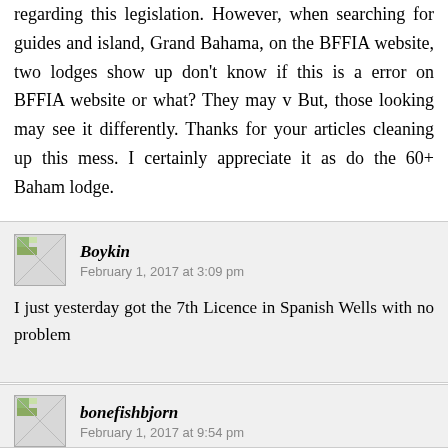regarding this legislation. However, when searching for guides and island, Grand Bahama, on the BFFIA website, two lodges show up don't know if this is a error on BFFIA website or what? They may v But, those looking may see it differently. Thanks for your articles cleaning up this mess. I certainly appreciate it as do the 60+ Baham lodge.
Boykin
February 1, 2017 at 3:09 pm

I just yesterday got the 7th Licence in Spanish Wells with no problem
bonefishbjorn
February 1, 2017 at 9:54 pm

One of the biggest Pro folks was Swain's Cay and she was, until